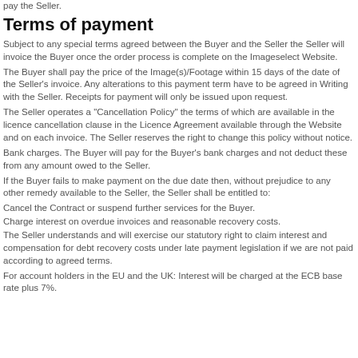pay the Seller.
Terms of payment
Subject to any special terms agreed between the Buyer and the Seller the Seller will invoice the Buyer once the order process is complete on the Imageselect Website.
The Buyer shall pay the price of the Image(s)/Footage within 15 days of the date of the Seller's invoice. Any alterations to this payment term have to be agreed in Writing with the Seller. Receipts for payment will only be issued upon request.
The Seller operates a "Cancellation Policy" the terms of which are available in the licence cancellation clause in the Licence Agreement available through the Website and on each invoice. The Seller reserves the right to change this policy without notice.
Bank charges. The Buyer will pay for the Buyer's bank charges and not deduct these from any amount owed to the Seller.
If the Buyer fails to make payment on the due date then, without prejudice to any other remedy available to the Seller, the Seller shall be entitled to:
Cancel the Contract or suspend further services for the Buyer.
Charge interest on overdue invoices and reasonable recovery costs.
The Seller understands and will exercise our statutory right to claim interest and compensation for debt recovery costs under late payment legislation if we are not paid according to agreed terms.
For account holders in the EU and the UK: Interest will be charged at the ECB base rate plus 7%.